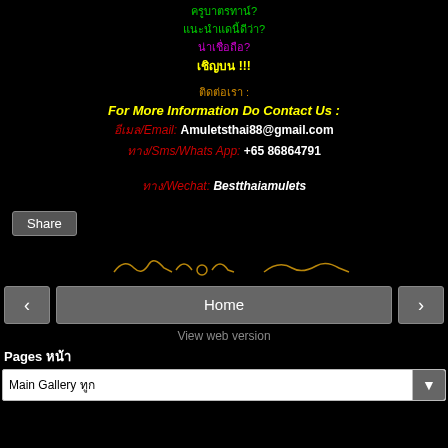Thai text line (green)
Thai text line (green, with ?)
Thai text line (magenta, with ?)
Thai text line (yellow, with **!!!**)
Thai contact label :
For More Information Do Contact Us :
Thai/Email: Amuletsthai88@gmail.com
Thai/Sms/Whats App: +65 86864791
Thai/Wechat: Bestthaiamulets
Share
[Figure (illustration): Handwritten signature or text in brown/gold color on black background]
‹   Home   ›
View web version
Pages Thai
Main Gallery Thai ▼